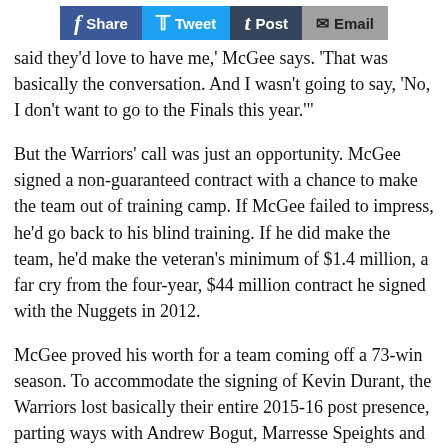Share | Tweet | Post | Email
said they'd love to have me,' McGee says. 'That was basically the conversation. And I wasn't going to say, 'No, I don't want to go to the Finals this year.'"
But the Warriors' call was just an opportunity. McGee signed a non-guaranteed contract with a chance to make the team out of training camp. If McGee failed to impress, he'd go back to his blind training. If he did make the team, he'd make the veteran's minimum of $1.4 million, a far cry from the four-year, $44 million contract he signed with the Nuggets in 2012.
McGee proved his worth for a team coming off a 73-win season. To accommodate the signing of Kevin Durant, the Warriors lost basically their entire 2015-16 post presence, parting ways with Andrew Bogut, Marresse Speights and Festus Ezeli. McGee became part of a veteran big-man trio